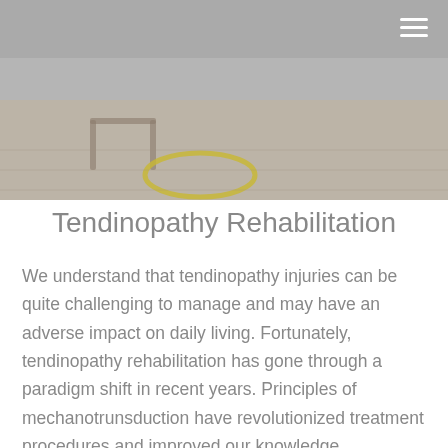[Figure (photo): Photograph of a rehabilitation or physiotherapy setting showing equipment on a wooden floor surface with a person partially visible in the background]
Tendinopathy Rehabilitation
We understand that tendinopathy injuries can be quite challenging to manage and may have an adverse impact on daily living. Fortunately, tendinopathy rehabilitation has gone through a paradigm shift in recent years. Principles of mechanotrunsduction have revolutionized treatment procedures and improved our knowledge